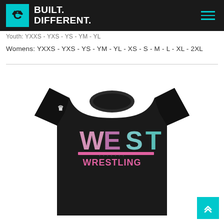[Figure (logo): Built Different logo with cyan square containing a crown C icon, followed by bold white text 'BUILT. DIFFERENT.' on dark background navigation bar with cyan hamburger menu icon on right]
Youth: YXXS - YXS - YS - YM - YL
Womens: YXXS - YXS - YS - YM - YL - XS - S - M - L - XL - 2XL
[Figure (photo): Black wrestling t-shirt with 'WEST' in large gradient teal-to-pink retro text and 'WRESTLING' in pink text below, with a white crown logo on the left sleeve, displayed on white background]